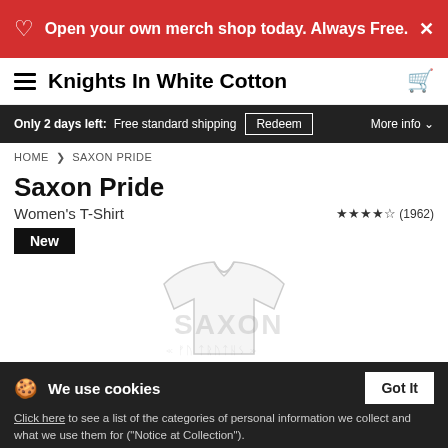Open your own merch shop today. Always Free.
Knights In White Cotton
Only 2 days left: Free standard shipping  Redeem  More info
HOME > SAXON PRIDE
Saxon Pride
Women's T-Shirt  ★★★★½ (1962)
New
[Figure (photo): White women's t-shirt product image with Saxon Pride graphic watermark]
We use cookies  Got It
Click here to see a list of the categories of personal information we collect and what we use them for ("Notice at Collection").
Privacy Policy
Do Not Sell My Personal Information
By using this website, I agree to the Terms and Conditions